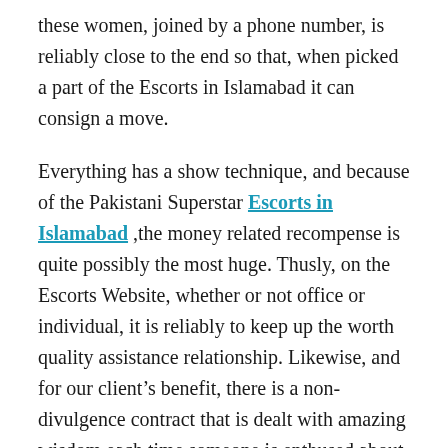these women, joined by a phone number, is reliably close to the end so that, when picked a part of the Escorts in Islamabad it can consign a move.
Everything has a show technique, and because of the Pakistani Superstar Escorts in Islamabad ,the money related recompense is quite possibly the most huge. Thusly, on the Escorts Website, whether or not office or individual, it is reliably to keep up the worth quality assistance relationship. Likewise, and for our client's benefit, there is a non-divulgence contract that is dealt with amazing wisdom each time someone is enthused about obtaining any of the organizations of the going with ladies.
The decision is fabulously moved. Honestly, inside a comparable site, there are a couple of chase models that fuse foster women, chestnuts, and blondies with extraordinary degrees or tip top use or celebrity. All of them, organized by age